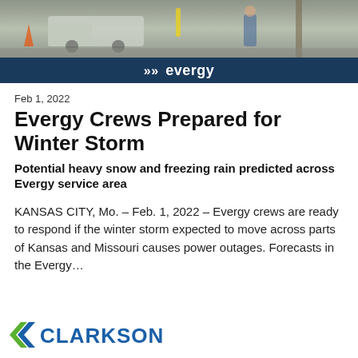[Figure (photo): Photograph of utility workers and truck near a utility pole, outdoor winter setting]
>> evergy
Feb 1, 2022
Evergy Crews Prepared for Winter Storm
Potential heavy snow and freezing rain predicted across Evergy service area
KANSAS CITY, Mo. – Feb. 1, 2022 – Evergy crews are ready to respond if the winter storm expected to move across parts of Kansas and Missouri causes power outages. Forecasts in the Evergy…
[Figure (logo): Clarkson logo at bottom of page, partially visible]